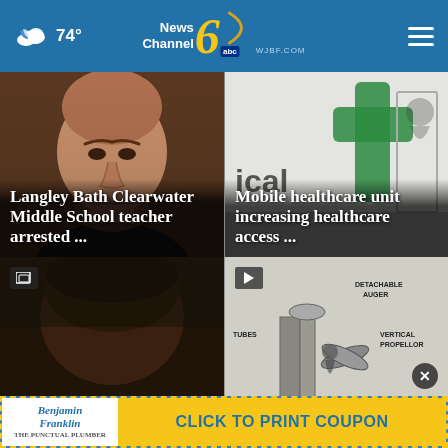74° News Channel 6 abc WJBF.COM
[Figure (photo): Mugshot of a heavyset white male with short hair and beard, against blurred background. Overlay text: Langley Bath Clearwater Middle School teacher arrested ...]
[Figure (photo): Mobile healthcare unit interior/exterior photo with green medical cross symbol. Overlay text: Mobile healthcare unit increasing healthcare access ...]
[Figure (photo): Partial mugshot of a Black male, top of head visible, blurred dark background. Text: 5th]
[Figure (illustration): Vintage engineering diagram of a device labeled: DETACHABLE AUGER, VERTICAL PROPELLOR, TUBES, DEPTH GAUGE, PROPEL. Play button overlay in top-left.]
[Figure (infographic): Benjamin Franklin Plumbing advertisement banner: CLICK TO PRINT COUPON with Benjamin Franklin logo on left and yellow CTA button on right.]